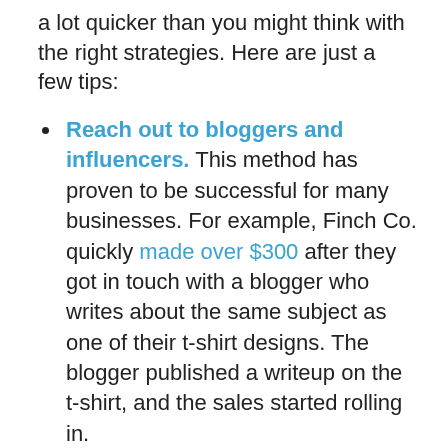a lot quicker than you might think with the right strategies. Here are just a few tips:
Reach out to bloggers and influencers. This method has proven to be successful for many businesses. For example, Finch Co. quickly made over $300 after they got in touch with a blogger who writes about the same subject as one of their t-shirt designs. The blogger published a writeup on the t-shirt, and the sales started rolling in.
Collaborate with other artists. When you work with fellow creators, you gain access to their audience. This is a great way of attracting new followers.
Create contests and giveaways. Back in